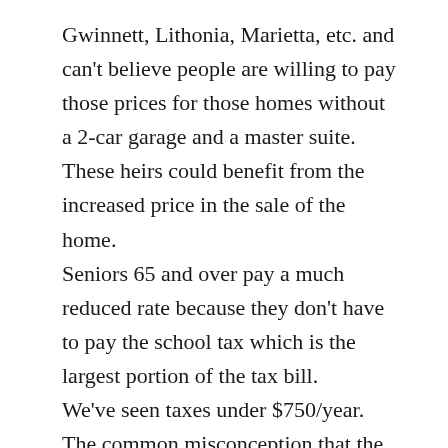Gwinnett, Lithonia, Marietta, etc. and can't believe people are willing to pay those prices for those homes without a 2-car garage and a master suite. These heirs could benefit from the increased price in the sale of the home. Seniors 65 and over pay a much reduced rate because they don't have to pay the school tax which is the largest portion of the tax bill. We've seen taxes under $750/year. The common misconception that the